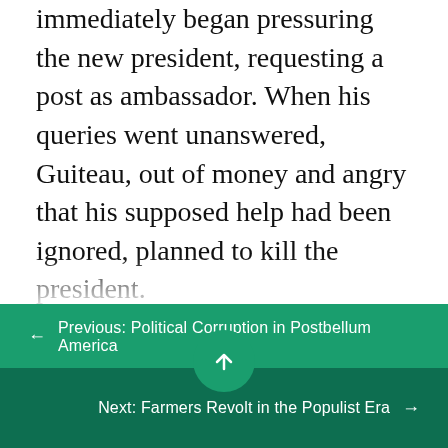immediately began pressuring the new president, requesting a post as ambassador. When his queries went unanswered, Guiteau, out of money and angry that his supposed help had been ignored, planned to kill the president.
He spent significant time planning his attack and considered weapons as diverse as dynamite and a stiletto before deciding on a gun, stating, “I wanted it done in an American manner.” He followed the president around the Capitol and let several opportunities pass, unwilling to kill Garfield in front of his wife or son. Frustrated with himself, Guiteau recommitted to the plan and wrote a letter to
← Previous: Political Corruption in Postbellum America
Next: Farmers Revolt in the Populist Era →